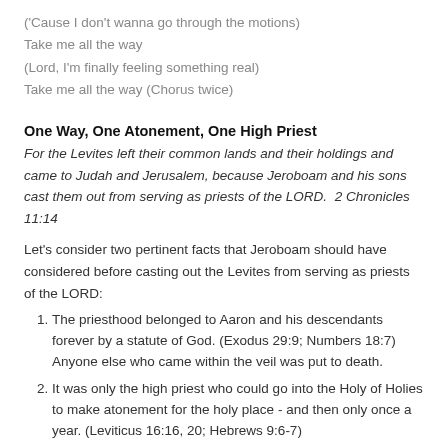('Cause I don't wanna go through the motions)
Take me all the way
(Lord, I'm finally feeling something real)
Take me all the way (Chorus twice)
One Way, One Atonement, One High Priest
For the Levites left their common lands and their holdings and came to Judah and Jerusalem, because Jeroboam and his sons cast them out from serving as priests of the LORD.  2 Chronicles 11:14
Let’s consider two pertinent facts that Jeroboam should have considered before casting out the Levites from serving as priests of the LORD:
The priesthood belonged to Aaron and his descendants forever by a statute of God. (Exodus 29:9; Numbers 18:7) Anyone else who came within the veil was put to death.
It was only the high priest who could go into the Holy of Holies to make atonement for the holy place - and then only once a year. (Leviticus 16:16, 20; Hebrews 9:6-7)